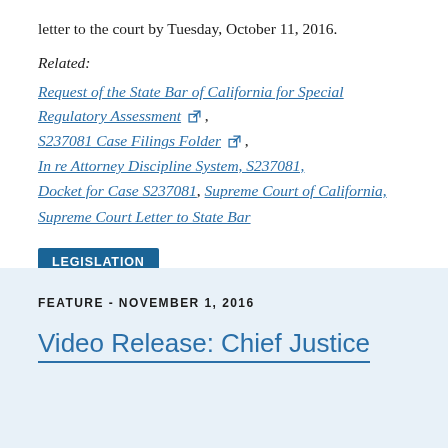letter to the court by Tuesday, October 11, 2016.
Related:
Request of the State Bar of California for Special Regulatory Assessment [external link],
S237081 Case Filings Folder [external link],
In re Attorney Discipline System, S237081,
Docket for Case S237081, Supreme Court of California,
Supreme Court Letter to State Bar
LEGISLATION
FEATURE - NOVEMBER 1, 2016
Video Release: Chief Justice